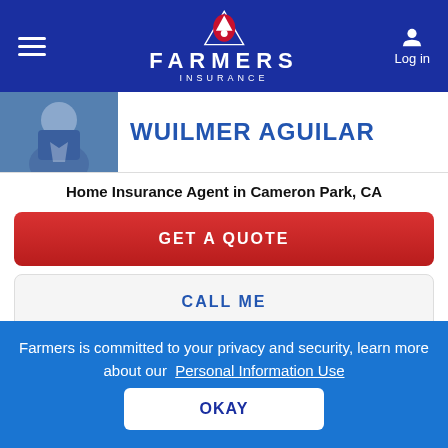Farmers Insurance
WUILMER AGUILAR
Home Insurance Agent in Cameron Park, CA
GET A QUOTE
CALL ME
TEXT ME
Address
Farmers is committed to your privacy and security, learn more about our Personal Information Use
OKAY